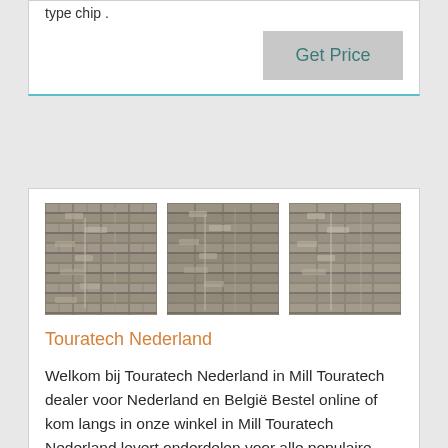type chip .
Get Price
[Figure (photo): Three stone/rock texture photos shown side by side]
Touratech Nederland
Welkom bij Touratech Nederland in Mill Touratech dealer voor Nederland en België Bestel online of kom langs in onze winkel in Mill Touratech Nederland levert onderdelen voor alle populaire allroad motoren, motorkleding, helmen en uitrusting voor de avontuurlijke motorrijder
Get Price